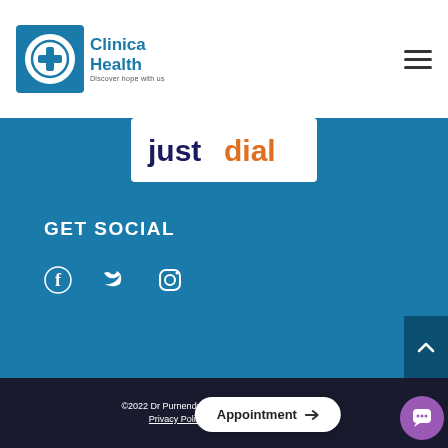[Figure (logo): Clinica Health logo with circular cross icon and tagline 'Discover hope with us']
[Figure (logo): JustDial logo on white banner]
GET SOCIAL
[Figure (infographic): Social media icons: Facebook, Twitter, Instagram]
©2022 Dr Purnendu Bhowmik | All Rights Reserved Privacy Policy | Terms and Conditions